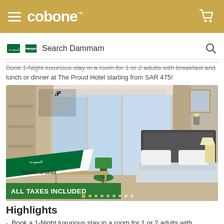cobone™
Search Dammam
Book 1-Night luxurious stay in a room for 1 or 2 adults with breakfast and lunch or dinner at The Proud Hotel starting from SAR 475!
[Figure (photo): Hotel room photo showing The Proud Hotel branding with Saudi Arabia flag ribbon, beds with blue-grey covers, large windows with curtain, green office chair, and ALL TAXES INCLUDED banner]
Highlights
Book a 1-Night luxurious stay in a room for 1 or 2 adults with breakfast and lunch or dinner at The Proud Hotel starting from SAR 475!